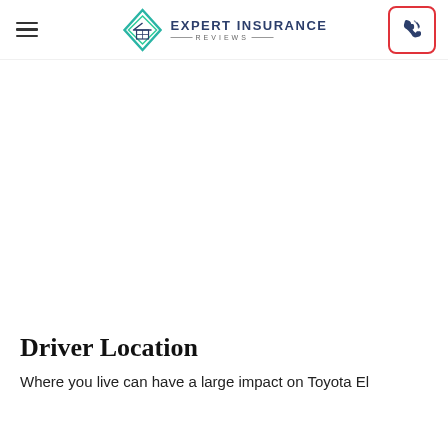Expert Insurance Reviews
Driver Location
Where you live can have a large impact on Toyota El...